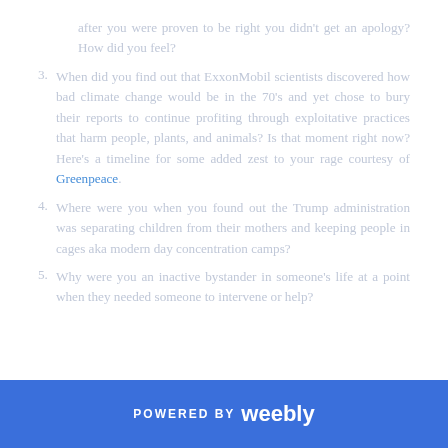after you were proven to be right you didn’t get an apology? How did you feel?
3. When did you find out that ExxonMobil scientists discovered how bad climate change would be in the 70’s and yet chose to bury their reports to continue profiting through exploitative practices that harm people, plants, and animals? Is that moment right now? Here’s a timeline for some added zest to your rage courtesy of Greenpeace.
4. Where were you when you found out the Trump administration was separating children from their mothers and keeping people in cages aka modern day concentration camps?
5. Why were you an inactive bystander in someone’s life at a point when they needed someone to intervene or help?
POWERED BY weebly